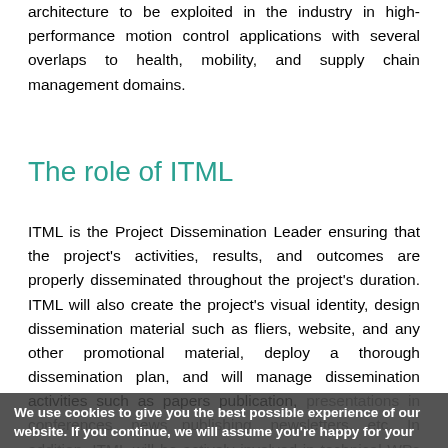architecture to be exploited in the industry in high-performance motion control applications with several overlaps to health, mobility, and supply chain management domains.
The role of ITML
ITML is the Project Dissemination Leader ensuring that the project's activities, results, and outcomes are properly disseminated throughout the project's duration. ITML will also create the project's visual identity, design dissemination material such as fliers, website, and any other promotional material, deploy a thorough dissemination plan, and will manage dissemination activities such as papers publication, presentations in conferences, news publishing, newsletters, etc. In addition, ITML will be actively involved in technical WPs as a technology provider by
We use cookies to give you the best possible experience of our website. If you continue, we will assume you're happy for your